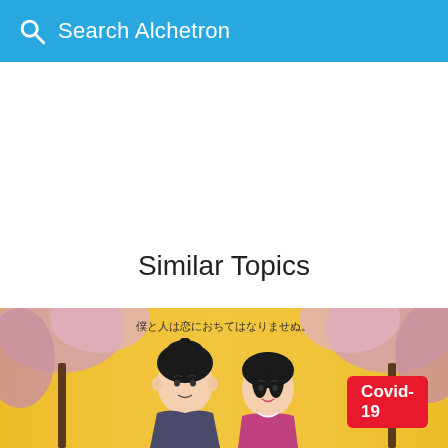Search Alchetron
Similar Topics
[Figure (photo): Japanese movie or drama poster with two figures in traditional costumes against a yellow background with cherry blossoms. Japanese text at top reads: 僕と人は恋におちてはなりませぬ。]
Covid-19